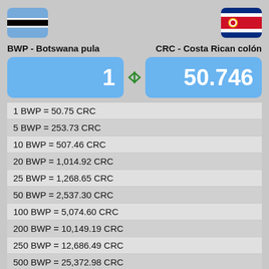[Figure (infographic): Botswana flag icon (blue, black, white stripes) on left and Costa Rica flag icon on right]
BWP - Botswana pula
CRC - Costa Rican colón
1
50.746
| 1 BWP = 50.75 CRC |
| 5 BWP = 253.73 CRC |
| 10 BWP = 507.46 CRC |
| 20 BWP = 1,014.92 CRC |
| 25 BWP = 1,268.65 CRC |
| 50 BWP = 2,537.30 CRC |
| 100 BWP = 5,074.60 CRC |
| 200 BWP = 10,149.19 CRC |
| 250 BWP = 12,686.49 CRC |
| 500 BWP = 25,372.98 CRC |
| 1,000 BWP = 50,745.96 CRC |
| 2,000 BWP = 101,491.92 CRC |
| 2,500 BWP = 126,864.89 CRC |
| 3,500 BWP = 177,610.85 CRC |